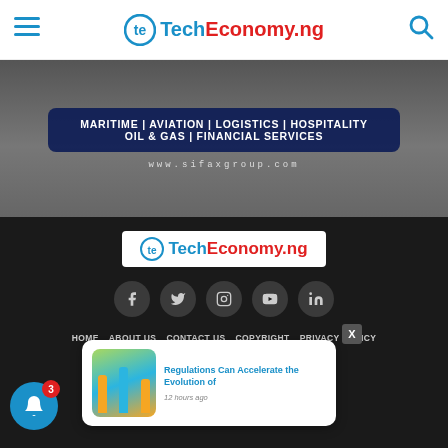TechEconomy.ng
[Figure (photo): Advertisement banner for Sifax Group showing maritime vehicles with text: MARITIME | AVIATION | LOGISTICS | HOSPITALITY OIL & GAS | FINANCIAL SERVICES www.sifaxgroup.com]
[Figure (logo): TechEconomy.ng logo in white box footer]
[Figure (infographic): Social media icons: Facebook, Twitter, Instagram, YouTube, LinkedIn]
HOME
ABOUT US
CONTACT US
COPYRIGHT
PRIVACY POLICY
TERMS & CONDITIONS
Copyright © 2021 TechEconomy.ng. Designed by ICreations Ent.
[Figure (screenshot): Notification popup: Regulations Can Accelerate the Evolution of — 12 hours ago, with thumbnail of colorful sticks in sand]